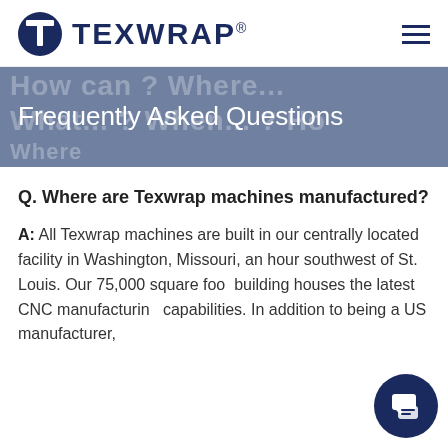[Figure (logo): Texwrap logo: dark navy circle with white T icon, followed by bold navy TEXWRAP text and registered trademark symbol]
Frequently Asked Questions
Q. Where are Texwrap machines manufactured?
A: All Texwrap machines are built in our centrally located facility in Washington, Missouri, an hour southwest of St. Louis. Our 75,000 square foot building houses the latest CNC manufacturing capabilities. In addition to being a US manufacturer,